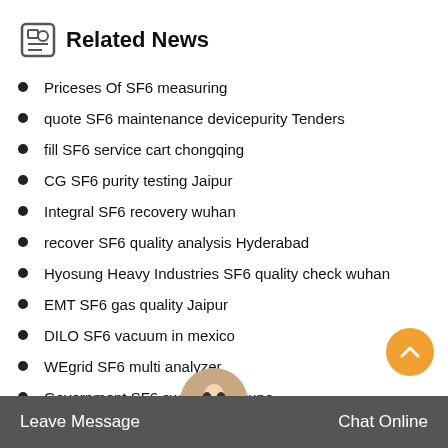Related News
Priceses Of SF6 measuring
quote SF6 maintenance devicepurity Tenders
fill SF6 service cart chongqing
CG SF6 purity testing Jaipur
Integral SF6 recovery wuhan
recover SF6 quality analysis Hyderabad
Hyosung Heavy Industries SF6 quality check wuhan
EMT SF6 gas quality Jaipur
DILO SF6 vacuum in mexico
WEgrid SF6 multi analyzer
Government SF6 switchgear Pune
Leave Message   Chat Online